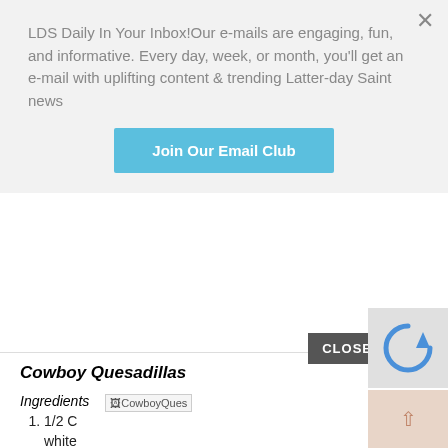LDS Daily In Your Inbox!Our e-mails are engaging, fun, and informative. Every day, week, or month, you'll get an e-mail with uplifting content & trending Latter-day Saint news
Join Our Email Club
Cowboy Quesadillas
Ingredients
[Figure (photo): Thumbnail image placeholder labeled CowboyQues]
1/2 C white rice
1/3 C black beans
1 cup